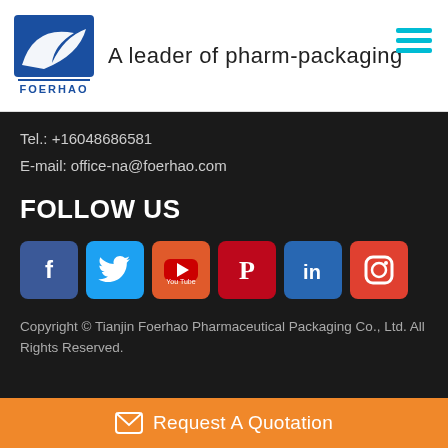[Figure (logo): Foerhao company logo — blue square with a stylized white bird/fin shape and FOERHAO text below]
A leader of pharm-packaging
Tel.: +16048686581
E-mail: office-na@foerhao.com
FOLLOW US
[Figure (other): Social media icons row: Facebook, Twitter, YouTube, Pinterest, LinkedIn, Instagram]
Copyright © Tianjin Foerhao Pharmaceutical Packaging Co., Ltd. All Rights Reserved.
Request A Quotation